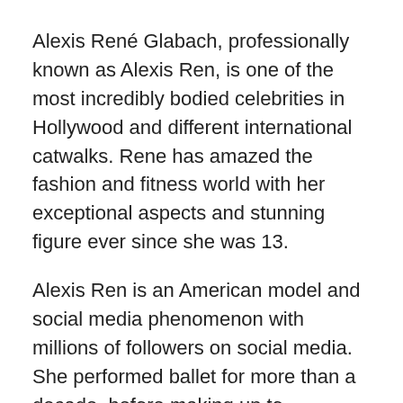Alexis René Glabach, professionally known as Alexis Ren, is one of the most incredibly bodied celebrities in Hollywood and different international catwalks. Rene has amazed the fashion and fitness world with her exceptional aspects and stunning figure ever since she was 13.
Alexis Ren is an American model and social media phenomenon with millions of followers on social media. She performed ballet for more than a decade, before making up to modelling at 13.
Since then, Ren has been appearing in various adverts such as Final Fantasy XV mobile game- not forgetting the activewear